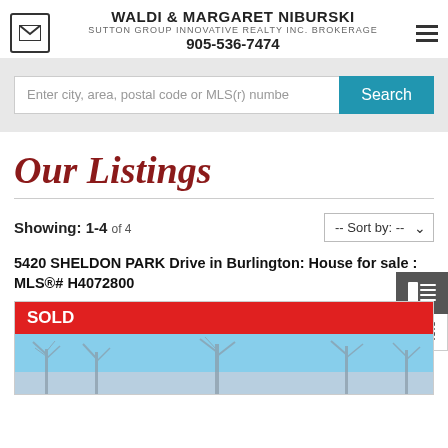WALDI & MARGARET NIBURSKI
SUTTON GROUP INNOVATIVE REALTY INC. BROKERAGE
905-536-7474
Enter city, area, postal code or MLS(r) numbe
Our Listings
Showing: 1-4 of 4
5420 SHELDON PARK Drive in Burlington: House for sale : MLS®# H4072800
[Figure (photo): Property listing photo with red SOLD banner and winter scene showing bare trees against blue sky]